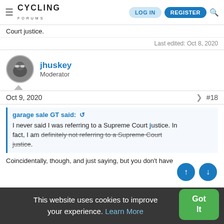CYCLING FORUMS — LOG IN | REGISTER
Court justice.
Last edited: Oct 8, 2020
jhuskey
Moderator
Oct 9, 2020   #18
garage sale GT said:
I never said I was referring to a Supreme Court justice. In fact, I am definitely not referring to a Supreme Court justice.
Coincidentally, though, and just saying, but you don't have
This website uses cookies to improve your experience. Learn More
Got It